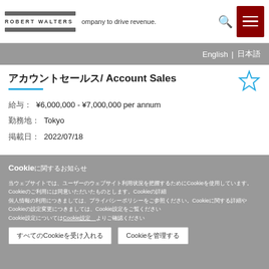position will be in charge of conducting sales ... company to drive revenue. ROBERT WALTERS
English | 日本語
アカウントセールス/ Account Sales
給与: ¥6,000,000 - ¥7,000,000 per annum
勤務地: Tokyo
掲載日: 2022/07/18
[Figure (logo): Global Firm Manufacturer hexagon logo in blue with company name]
Cookieに関するお知らせ
当ウェブサイトでは、ユーザーのウェブサイト利用状況を把握するためにCookieを使用しています。Cookieのご利用には同意いただいたものとします。個人情報の利用につきましては、プライバシーポリシーをご参照ください。Cookie設定を変更することができます。Cookie設定　についてはこちら
すべてのCookieを受け入れる　Cookieを管理する